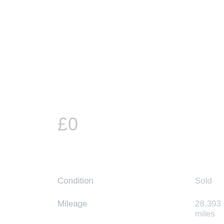£0
Condition
Sold
Mileage
28,393 miles